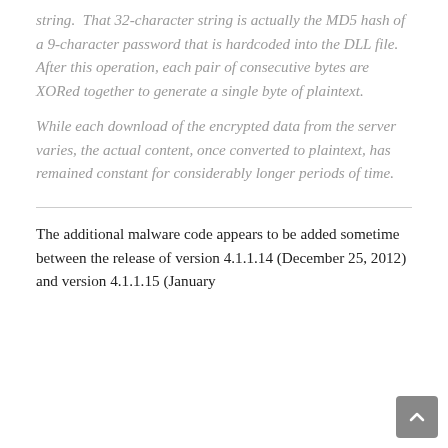string. That 32-character string is actually the MD5 hash of a 9-character password that is hardcoded into the DLL file. After this operation, each pair of consecutive bytes are XORed together to generate a single byte of plaintext.
While each download of the encrypted data from the server varies, the actual content, once converted to plaintext, has remained constant for considerably longer periods of time.
The additional malware code appears to be added sometime between the release of version 4.1.1.14 (December 25, 2012) and version 4.1.1.15 (January